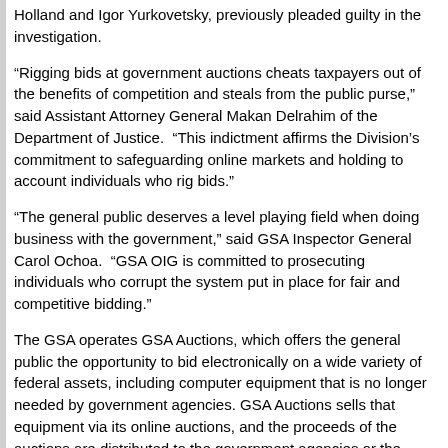Holland and Igor Yurkovetsky, previously pleaded guilty in the investigation.
“Rigging bids at government auctions cheats taxpayers out of the benefits of competition and steals from the public purse,” said Assistant Attorney General Makan Delrahim of the Department of Justice.  “This indictment affirms the Division’s commitment to safeguarding online markets and holding to account individuals who rig bids.”
“The general public deserves a level playing field when doing business with the government,” said GSA Inspector General Carol Ochoa.  “GSA OIG is committed to prosecuting individuals who corrupt the system put in place for fair and competitive bidding.”
The GSA operates GSA Auctions, which offers the general public the opportunity to bid electronically on a wide variety of federal assets, including computer equipment that is no longer needed by government agencies. GSA Auctions sells that equipment via its online auctions, and the proceeds of the auctions are distributed to the government agencies or the U.S. Treasury general fund.  According to the charge, the primary purpose of the conspiracy was to suppress and eliminate competition.  Additionally, the co-conspirators obtained the equipment by agreeing which co-conspirators would submit bids for particular lots offered for sale by GSA Auctions and